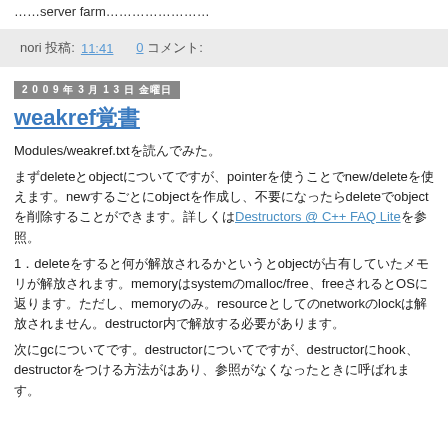……server farm……………………
nori 投稿: 11:41   0 コメント:
2009年3月13日 金曜日
weakref覚書
Modules/weakref.txtを読んでみた。
まずdeleteとobjectについてですが、pointerを使うことでnew/deleteを使えます。newするごとにobjectを作成し、不要になったらdeleteでobjectを削除することができます。詳しくはDestructors @ C++ FAQ Liteを参照。
1．deleteをすると何が解放されるかというとobjectが占有していたメモリが解放されます。memoryはsystemのmalloc/free、freeされるとOSに返ります。ただし、memoryのみ。resourceとしてのnetworkのlockは解放されません。destructor内で解放する必要があります。
次にgcについてです。destructorについてですが、destructorにhook、destructorをつける方法がはあり、参照がなくなったときに呼ばれます。